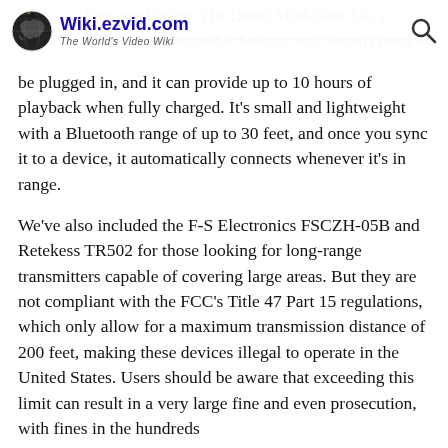Wiki.ezvid.com — The World's Video Wiki
before purchasing. The Doost Modulator has a 500mAh rechargeable battery, so it doesn't need to be plugged in, and it can provide up to 10 hours of playback when fully charged. It's small and lightweight with a Bluetooth range of up to 30 feet, and once you sync it to a device, it automatically connects whenever it's in range.
We've also included the F-S Electronics FSCZH-05B and Retekess TR502 for those looking for long-range transmitters capable of covering large areas. But they are not compliant with the FCC's Title 47 Part 15 regulations, which only allow for a maximum transmission distance of 200 feet, making these devices illegal to operate in the United States. Users should be aware that exceeding this limit can result in a very large fine and even prosecution, with fines in the hundreds...